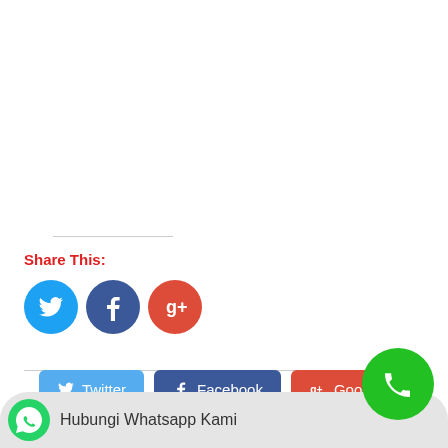Share This:
[Figure (screenshot): Social share icons: Twitter (blue circle), Facebook (dark blue circle), Google+ (red circle)]
[Figure (screenshot): Social share buttons row: Twitter (light blue button), Facebook (dark blue button), Google+ (red button)]
[Figure (screenshot): WhatsApp contact bar at bottom with green WhatsApp icon and text 'Hubungi Whatsapp Kami', plus green phone FAB button in bottom right]